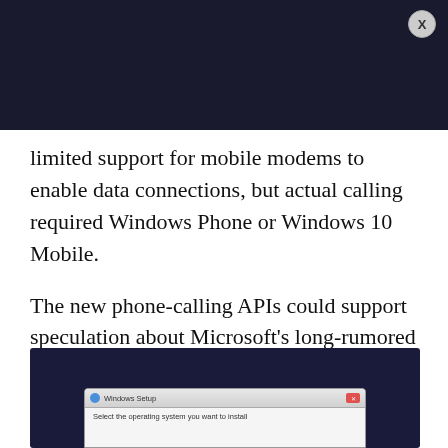[Figure (screenshot): Dark navy/black top bar with an X close button in the upper right corner]
limited support for mobile modems to enable data connections, but actual calling required Windows Phone or Windows 10 Mobile.

The new phone-calling APIs could support speculation about Microsoft's long-rumored plans around Andromeda, a foldable Windows 10 mobile device that could serve as Microsoft's return to the mobile market.
[Figure (screenshot): Windows Setup dialog screenshot on a dark navy background. The dialog shows 'Select the operating system you want to install' text.]